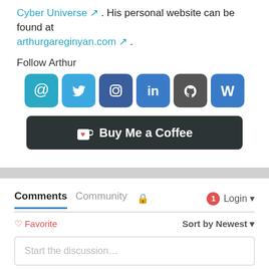Cyber Universe . His personal website can be found at arthurgareginyan.com .
Follow Arthur
[Figure (infographic): Row of social media icons: email (@), Twitter bird, Instagram camera, LinkedIn 'in', GitHub octocat, WordPress 'W']
[Figure (infographic): Buy Me a Coffee button with heart-and-cup logo on dark background]
Comments  Community  [lock icon]  [1] Login
♡ Favorite    Sort by Newest
Start the discussion…
LOG IN WITH
[Figure (infographic): Four login icons: Disqus (D), Facebook (f), Twitter bird, Google (G)]